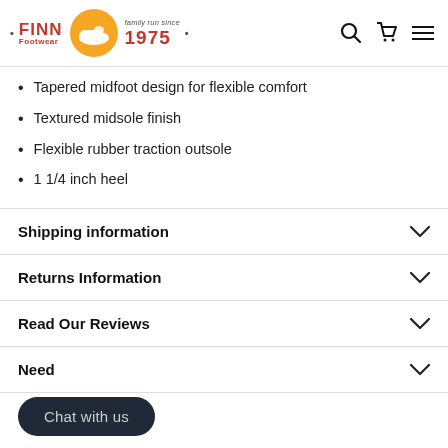FINN Footwear — family run since 1975
Tapered midfoot design for flexible comfort
Textured midsole finish
Flexible rubber traction outsole
1 1/4 inch heel
Shipping information
Returns Information
Read Our Reviews
Need
Chat with us
You may also like